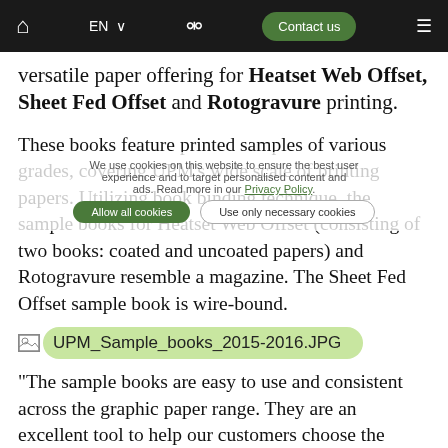EN  Contact us
versatile paper offering for Heatset Web Offset, Sheet Fed Offset and Rotogravure printing.
These books feature printed samples of various grades, covering UPM’s wide scale of printing papers. Utilizing book binding technique, the sample books for Heatset Web Offset (consisting of two books: coated and uncoated papers) and Rotogravure resemble a magazine. The Sheet Fed Offset sample book is wire-bound.
[Figure (screenshot): Broken image placeholder with filename UPM_Sample_books_2015-2016.JPG shown on a green pill-shaped background]
“The sample books are easy to use and consistent across the graphic paper range. They are an excellent tool to help our customers choose the